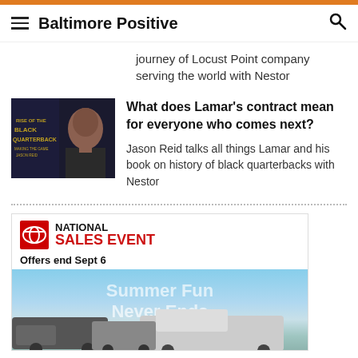Baltimore Positive
journey of Locust Point company serving the world with Nestor
[Figure (photo): Headshot of a man in front of book cover 'Rise of the Black Quarterback']
What does Lamar's contract mean for everyone who comes next?
Jason Reid talks all things Lamar and his book on history of black quarterbacks with Nestor
[Figure (photo): Toyota National Sales Event advertisement showing trucks with text 'Summer Fun Never Ends', offers end Sept 6]